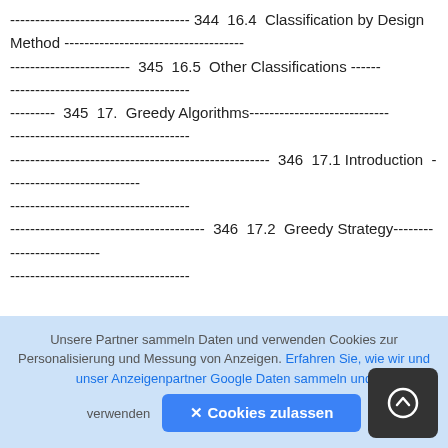---- 344 16.4 Classification by Design Method ----------------------------
------------------------ 345 16.5 Other Classifications ------
--------- 345 17. Greedy Algorithms----------------------------
---------------------------------------------------- 346 17.1 Introduction ----------------------------
--------------------------------------- 346 17.2 Greedy Strategy----------------------------
Unsere Partner sammeln Daten und verwenden Cookies zur Personalisierung und Messung von Anzeigen. Erfahren Sie, wie wir und unser Anzeigenpartner Google Daten sammeln und verwenden
✕ Cookies zulassen